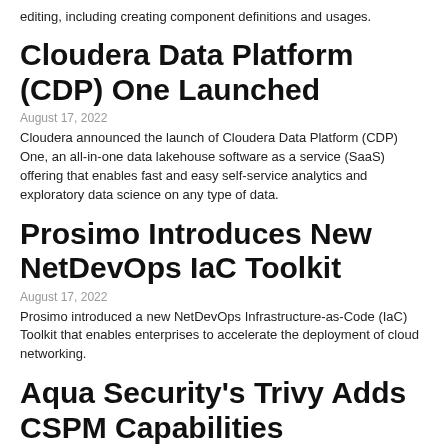editing, including creating component definitions and usages.
Cloudera Data Platform (CDP) One Launched
August 17, 2022
Cloudera announced the launch of Cloudera Data Platform (CDP) One, an all-in-one data lakehouse software as a service (SaaS) offering that enables fast and easy self-service analytics and exploratory data science on any type of data.
Prosimo Introduces New NetDevOps IaC Toolkit
August 17, 2022
Prosimo introduced a new NetDevOps Infrastructure-as-Code (IaC) Toolkit that enables enterprises to accelerate the deployment of cloud networking.
Aqua Security's Trivy Adds CSPM Capabilities
August 17, 2022
Aqua Security announced the addition of cloud security posture management (CSPM) capabilities to the open source tool Aqua Trivy.
Microsoft and Canonical Announce Native .NET Availability on Ubuntu 22.04 LTS